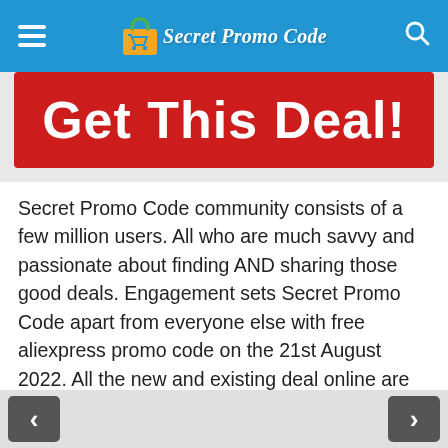Secret Promo Code — navigation header with hamburger menu, logo, and search icon
[Figure (screenshot): Red banner button with white bold text reading 'Get This Deal!']
Secret Promo Code community consists of a few million users. All who are much savvy and passionate about finding AND sharing those good deals. Engagement sets Secret Promo Code apart from everyone else with free aliexpress promo code on the 21st August 2022. All the new and existing deal online are posted and reviewed by the entire community. Our expert team of deal hunters has wide experience and deep category
< navigation arrow left | > navigation arrow right